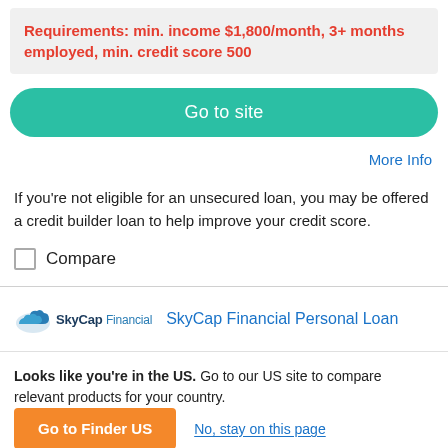Requirements: min. income $1,800/month, 3+ months employed, min. credit score 500
Go to site
More Info
If you're not eligible for an unsecured loan, you may be offered a credit builder loan to help improve your credit score.
Compare
[Figure (logo): SkyCap Financial logo with cloud icon]
SkyCap Financial Personal Loan
Looks like you're in the US. Go to our US site to compare relevant products for your country.
Go to Finder US
No, stay on this page